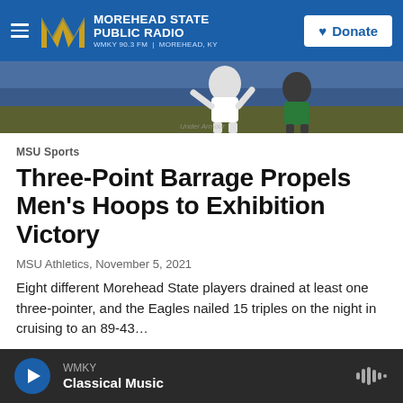Morehead State Public Radio — WMKY 90.3 FM | Morehead, KY — Donate
[Figure (photo): Basketball action photo showing a Morehead State player in white uniform jumping near a player in green uniform, with blue stadium seating visible in background]
MSU Sports
Three-Point Barrage Propels Men's Hoops to Exhibition Victory
MSU Athletics, November 5, 2021
Eight different Morehead State players drained at least one three-pointer, and the Eagles nailed 15 triples on the night in cruising to an 89-43…
WMKY — Classical Music